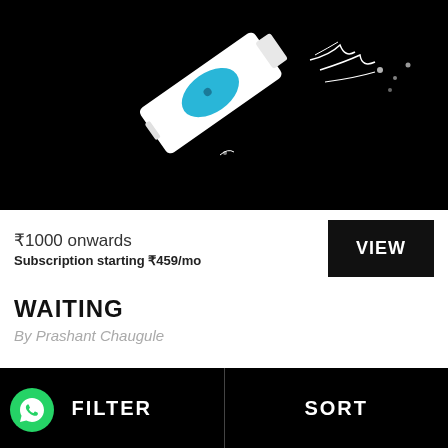[Figure (photo): Dark product image showing a device/bottle with a blue circular element and sparks/splashes on a black background]
₹1000 onwards
Subscription starting ₹459/mo
WAITING
By Prashant Chaugule
FILTER  SORT